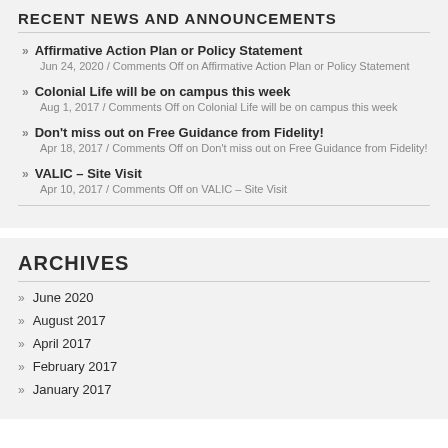RECENT NEWS AND ANNOUNCEMENTS
Affirmative Action Plan or Policy Statement
Jun 24, 2020 / Comments Off on Affirmative Action Plan or Policy Statement
Colonial Life will be on campus this week
Aug 1, 2017 / Comments Off on Colonial Life will be on campus this week
Don't miss out on Free Guidance from Fidelity!
Apr 18, 2017 / Comments Off on Don't miss out on Free Guidance from Fidelity!
VALIC – Site Visit
Apr 10, 2017 / Comments Off on VALIC – Site Visit
ARCHIVES
June 2020
August 2017
April 2017
February 2017
January 2017